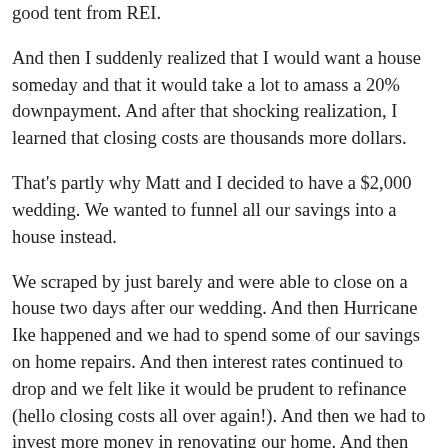good tent from REI.
And then I suddenly realized that I would want a house someday and that it would take a lot to amass a 20% downpayment. And after that shocking realization, I learned that closing costs are thousands more dollars.
That's partly why Matt and I decided to have a $2,000 wedding. We wanted to funnel all our savings into a house instead.
We scraped by just barely and were able to close on a house two days after our wedding. And then Hurricane Ike happened and we had to spend some of our savings on home repairs. And then interest rates continued to drop and we felt like it would be prudent to refinance (hello closing costs all over again!). And then we had to invest more money in renovating our home. And then our cars were stolen and we had to use some of our savings to supplement the insurance money and get a new car. And then Matt's stolen car was returned but it started getting really old and we had to use our savings to get him a new car. And then we really